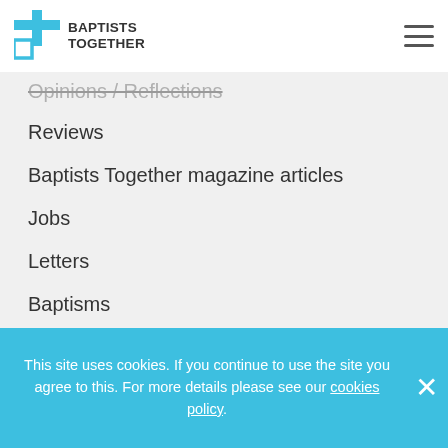BAPTISTS TOGETHER
Opinions / Reflections
Reviews
Baptists Together magazine articles
Jobs
Letters
Baptisms
Obituaries
Archive
Write for the Baptist Times
This site uses cookies. If you continue to use the site you agree to this. For more details please see our cookies policy.